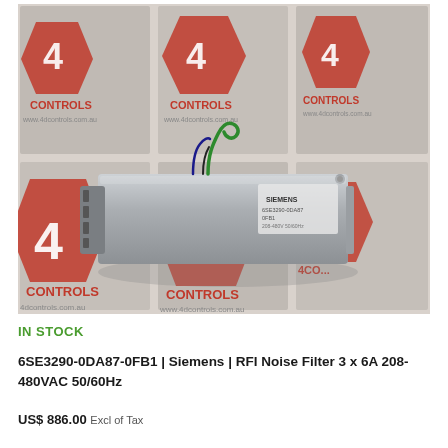[Figure (photo): A Siemens RFI Noise Filter (6SE3290-0DA87-0FB1) — a silver/grey metal box with wiring — placed on a red and white 4D Controls branded backdrop showing '4D CONTROLS www.4dcontrols.com.au' repeated across a tile pattern.]
IN STOCK
6SE3290-0DA87-0FB1 | Siemens | RFI Noise Filter 3 x 6A 208-480VAC 50/60Hz
US$ 886.00 Excl of Tax